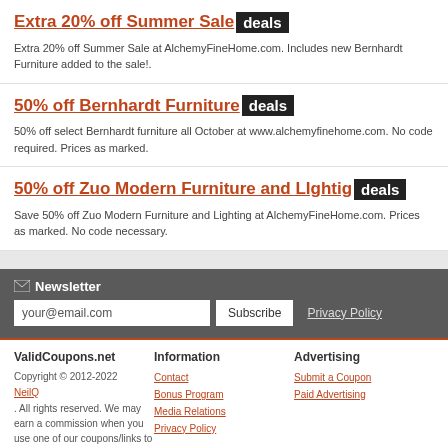Extra 20% off Summer Sale deals
Extra 20% off Summer Sale at AlchemyFineHome.com. Includes new Bernhardt Furniture added to the sale!.
50% off Bernhardt Furniture deals
50% off select Bernhardt furniture all October at www.alchemyfinehome.com. No code required. Prices as marked.
50% off Zuo Modern Furniture and LIghtig deals
Save 50% off Zuo Modern Furniture and Lighting at AlchemyFineHome.com. Prices as marked. No code necessary.
Newsletter your@email.com Subscribe Privacy Policy
ValidCoupons.net Information Advertising Copyright © 2012-2022 NeilQ. All rights reserved. We may earn a commission when you use one of our coupons/links to make a purchase. Change Country Contact Bonus Program Media Relations Privacy Policy Submit a Coupon Paid Advertising